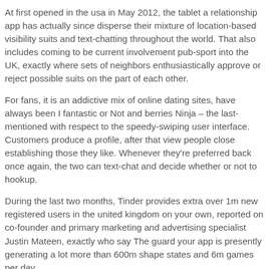At first opened in the usa in May 2012, the tablet a relationship app has actually since disperse their mixture of location-based visibility suits and text-chatting throughout the world. That also includes coming to be current involvement pub-sport into the UK, exactly where sets of neighbors enthusiastically approve or reject possible suits on the part of each other.
For fans, it is an addictive mix of online dating sites, have always been I fantastic or Not and berries Ninja – the last-mentioned with respect to the speedy-swiping user interface. Customers produce a profile, after that view people close establishing those they like. Whenever they're preferred back once again, the two can text-chat and decide whether or not to hookup.
During the last two months, Tinder provides extra over 1m new registered users in the united kingdom on your own, reported on co-founder and primary marketing and advertising specialist Justin Mateen, exactly who say The guard your app is presently generating a lot more than 600m shape states and 6m games per day.